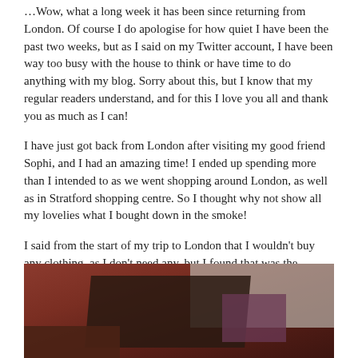…Wow, what a long week it has been since returning from London. Of course I do apologise for how quiet I have been the past two weeks, but as I said on my Twitter account, I have been way too busy with the house to think or have time to do anything with my blog. Sorry about this, but I know that my regular readers understand, and for this I love you all and thank you as much as I can!
I have just got back from London after visiting my good friend Sophi, and I had an amazing time! I ended up spending more than I intended to as we went shopping around London, as well as in Stratford shopping centre. So I thought why not show all my lovelies what I bought down in the smoke!
I said from the start of my trip to London that I wouldn't buy any clothing, as I don't need any, but I found that was the majority of what I bought. Oops! I picked up three t-shirts, and a coat.
[Figure (photo): A partial photo showing what appears to be clothing items on a red/brown surface, with dark furniture visible.]